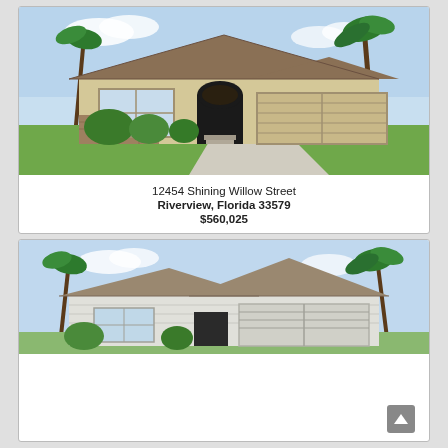[Figure (photo): Exterior rendering of a single-story house with beige/tan stucco finish, stone accents, arched front entry, large windows, and a wide 3-car garage. Lush green lawn and tropical landscaping with palm trees in background.]
12454 Shining Willow Street
Riverview, Florida 33579
$560,025
[Figure (photo): Exterior rendering of a single-story house with light gray/white finish, dark shingled roof, multiple roof peaks, and tropical palm trees in background. Two-car garage visible.]